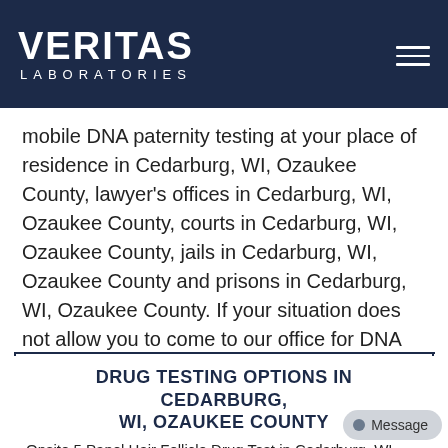VERITAS LABORATORIES
mobile DNA paternity testing at your place of residence in Cedarburg, WI, Ozaukee County, lawyer's offices in Cedarburg, WI, Ozaukee County, courts in Cedarburg, WI, Ozaukee County, jails in Cedarburg, WI, Ozaukee County and prisons in Cedarburg, WI, Ozaukee County. If your situation does not allow you to come to our office for DNA sample collection in Cedarburg, WI, Ozaukee County, please call us now so we can schedule your onsite DNA testing.
DRUG TESTING OPTIONS IN CEDARBURG, WI, OZAUKEE COUNTY
Onsite 5 Panel Hair Follicle Drug Test in Cedarburg, WI,